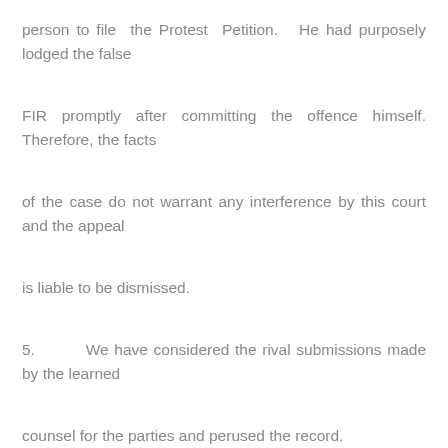person to file the Protest Petition. He had purposely lodged the false
FIR promptly after committing the offence himself. Therefore, the facts
of the case do not warrant any interference by this court and the appeal
is liable to be dismissed.
5.        We have considered the rival submissions made by the learned
counsel for the parties and perused the record.